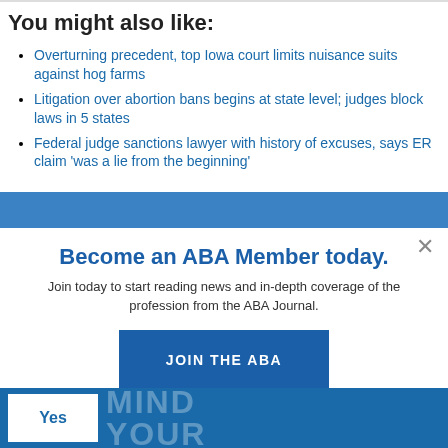You might also like:
Overturning precedent, top Iowa court limits nuisance suits against hog farms
Litigation over abortion bans begins at state level; judges block laws in 5 states
Federal judge sanctions lawyer with history of excuses, says ER claim 'was a lie from the beginning'
Become an ABA Member today.
Join today to start reading news and in-depth coverage of the profession from the ABA Journal.
JOIN THE ABA
Already an ABA Member? Sign in
Yes